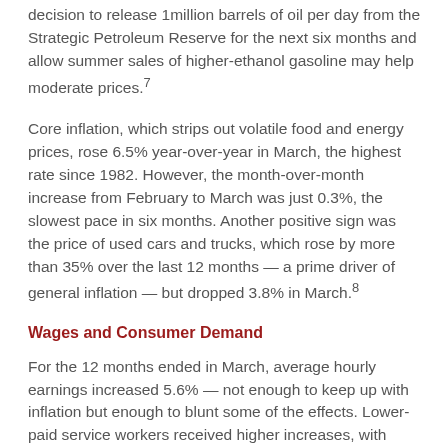decision to release 1million barrels of oil per day from the Strategic Petroleum Reserve for the next six months and allow summer sales of higher-ethanol gasoline may help moderate prices.7
Core inflation, which strips out volatile food and energy prices, rose 6.5% year-over-year in March, the highest rate since 1982. However, the month-over-month increase from February to March was just 0.3%, the slowest pace in six months. Another positive sign was the price of used cars and trucks, which rose by more than 35% over the last 12 months — a prime driver of general inflation — but dropped 3.8% in March.8
Wages and Consumer Demand
For the 12 months ended in March, average hourly earnings increased 5.6% — not enough to keep up with inflation but enough to blunt some of the effects. Lower-paid service workers received higher increases, with wages jumping by almost 15% for